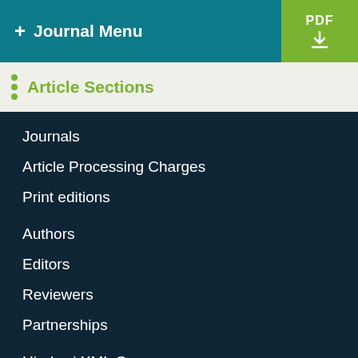+ Journal Menu | PDF ↓
Article Sections
Journals
Article Processing Charges
Print editions
Authors
Editors
Reviewers
Partnerships
Hindawi XML Corpus
Open Archives Initiative
Fraud prevention